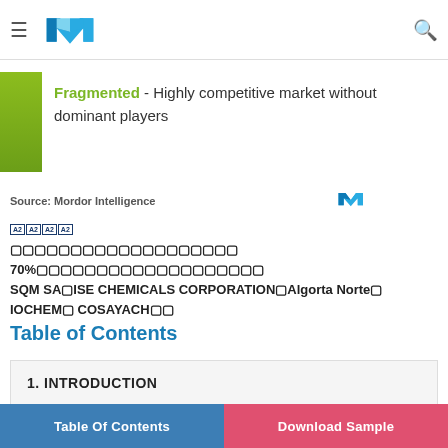Mordor Intelligence navigation bar with logo and search icon
Fragmented - Highly competitive market without dominant players
Source: Mordor Intelligence
A2 A2 A2 A2
70% SQM SA ISE CHEMICALS CORPORATION Algorta Norte IOCHEM COSAYACH
Table of Contents
1. INTRODUCTION
Table Of Contents | Download Sample